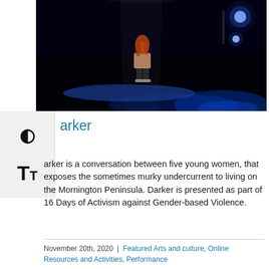[Figure (photo): A performer standing on a dark stage with blue lighting, a blue fabric on the floor, and bright stage lights in the upper right corner.]
Darker
Darker is a conversation between five young women, that exposes the sometimes murky undercurrent to living on the Mornington Peninsula. Darker is presented as part of 16 Days of Activism against Gender-based Violence.
November 20th, 2020 | Featured Arts and culture, Online Resources and Activities, Performance